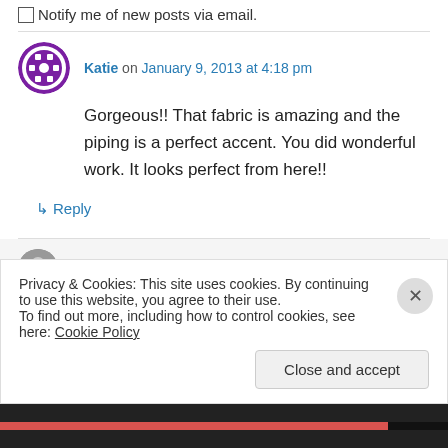Notify me of new posts via email.
Katie on January 9, 2013 at 4:18 pm
Gorgeous!! That fabric is amazing and the piping is a perfect accent. You did wonderful work. It looks perfect from here!!
↳ Reply
Susie Homemaker, MD on January 9, 2013 at
Privacy & Cookies: This site uses cookies. By continuing to use this website, you agree to their use.
To find out more, including how to control cookies, see here: Cookie Policy
Close and accept